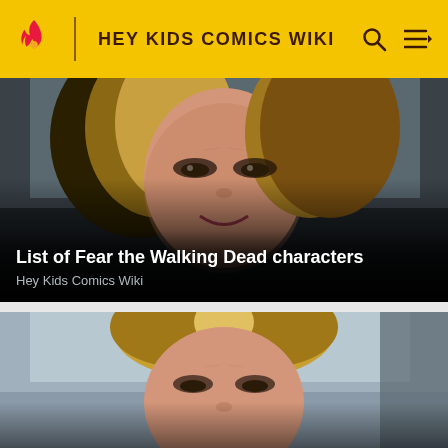HEY KIDS COMICS WIKI
[Figure (photo): Close-up photo of a blonde woman's face in dim lighting, smiling slightly, from Fear the Walking Dead]
List of Fear the Walking Dead characters
Hey Kids Comics Wiki
[Figure (photo): Close-up photo of the same blonde woman's face, looking upward, lighter background, from Fear the Walking Dead]